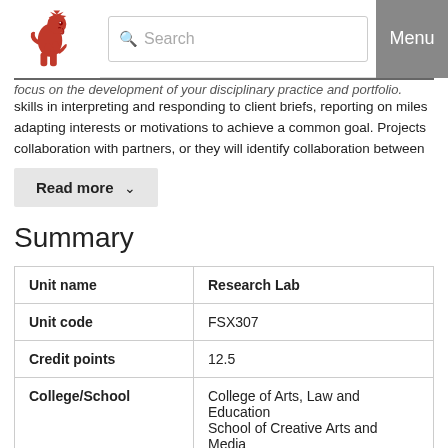Navigation bar with university logo, search field, and Menu button
focus on the development of your disciplinary practice and portfolio. skills in interpreting and responding to client briefs, reporting on milestones, adapting interests or motivations to achieve a common goal. Projects collaboration with partners, or they will identify collaboration between
Read more
Summary
|  |  |
| --- | --- |
| Unit name | Research Lab |
| Unit code | FSX307 |
| Credit points | 12.5 |
| College/School | College of Arts, Law and Education
School of Creative Arts and Media |
| Discipline | Arts |
| Coordinator | Doctor Kathleen Williams |